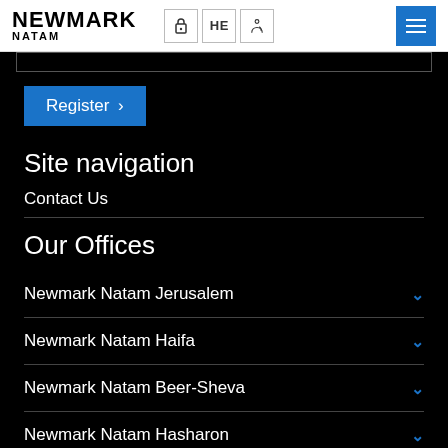NEWMARK NATAM
Register >
Site navigation
Contact Us
Our Offices
Newmark Natam Jerusalem
Newmark Natam Haifa
Newmark Natam Beer-Sheva
Newmark Natam Hasharon